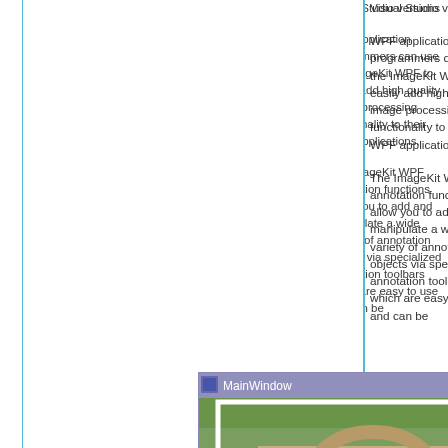Visual Studio versions
WPF application programmers can use the ImageKit WPF to easily add high quality image processing functionality to their WPF applications.
The ImageKit WPF annotation functions allow you to add and manipulate a wide variety of annotation objects via specialized annotation toolbars which are easy to use and can be
[Figure (screenshot): A screenshot of a Windows application window titled 'MainWindow' showing an image of a stone bridge with water, a 'Load Image' button, and radio button options: Scale Display (selected), Stretch Display, Actual Size Display.]